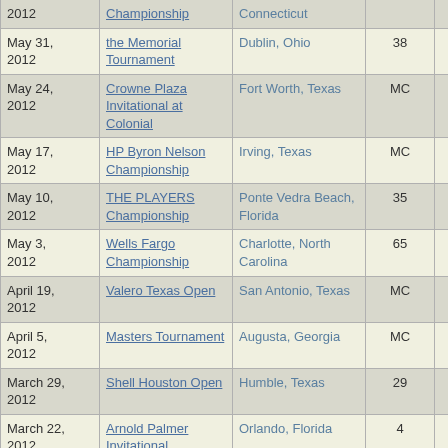| Date | Tournament | Location | Place | Money |
| --- | --- | --- | --- | --- |
| 2012 | Championship | Connecticut |  |  |
| May 31, 2012 | the Memorial Tournament | Dublin, Ohio | 38 | $24,800 |
| May 24, 2012 | Crowne Plaza Invitational at Colonial | Fort Worth, Texas | MC | $0 |
| May 17, 2012 | HP Byron Nelson Championship | Irving, Texas | MC | $0 |
| May 10, 2012 | THE PLAYERS Championship | Ponte Vedra Beach, Florida | 35 | $46,835 |
| May 3, 2012 | Wells Fargo Championship | Charlotte, North Carolina | 65 | $13,455 |
| April 19, 2012 | Valero Texas Open | San Antonio, Texas | MC | $0 |
| April 5, 2012 | Masters Tournament | Augusta, Georgia | MC | $0 |
| March 29, 2012 | Shell Houston Open | Humble, Texas | 29 | $37,329 |
| March 22, 2012 | Arnold Palmer Invitational | Orlando, Florida | 4 | $209,571 |
| March 8, 2012 | WGC - Cadillac Championship | Miami, Florida | 13 | $101,000 |
| March 1, | The Honda | Palm Beach |  |  |